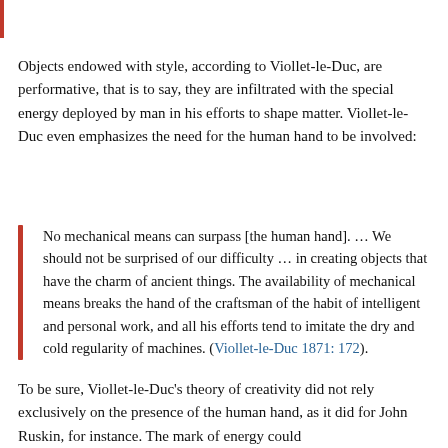Objects endowed with style, according to Viollet-le-Duc, are performative, that is to say, they are infiltrated with the special energy deployed by man in his efforts to shape matter. Viollet-le-Duc even emphasizes the need for the human hand to be involved:
No mechanical means can surpass [the human hand]. … We should not be surprised of our difficulty … in creating objects that have the charm of ancient things. The availability of mechanical means breaks the hand of the craftsman of the habit of intelligent and personal work, and all his efforts tend to imitate the dry and cold regularity of machines. (Viollet-le-Duc 1871: 172).
To be sure, Viollet-le-Duc's theory of creativity did not rely exclusively on the presence of the human hand, as it did for John Ruskin, for instance. The mark of energy could